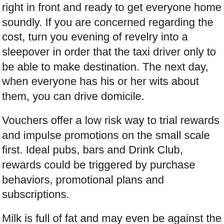right in front and ready to get everyone home soundly. If you are concerned regarding the cost, turn you evening of revelry into a sleepover in order that the taxi driver only to be able to make destination. The next day, when everyone has his or her wits about them, you can drive domicile.
Vouchers offer a low risk way to trial rewards and impulse promotions on the small scale first. Ideal pubs, bars and Drink Club, rewards could be triggered by purchase behaviors, promotional plans and subscriptions.
Milk is full of fat and may even be against the rules. Juices, while some of them being good for you, are high in sugar and they're off limits when tend to be dieting of losing weight. You should watch juices anyway so many of them contain very little fruit